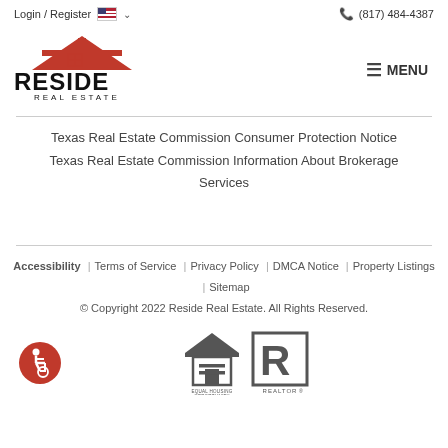Login / Register  (817) 484-4387
[Figure (logo): Reside Real Estate logo with red house/roof graphic and bold text]
Texas Real Estate Commission Consumer Protection Notice
Texas Real Estate Commission Information About Brokerage Services
Accessibility | Terms of Service | Privacy Policy | DMCA Notice | Property Listings | Sitemap
© Copyright 2022 Reside Real Estate. All Rights Reserved.
[Figure (logo): Equal Housing Opportunity logo]
[Figure (logo): REALTOR logo]
[Figure (logo): Accessibility wheelchair icon in red circle]